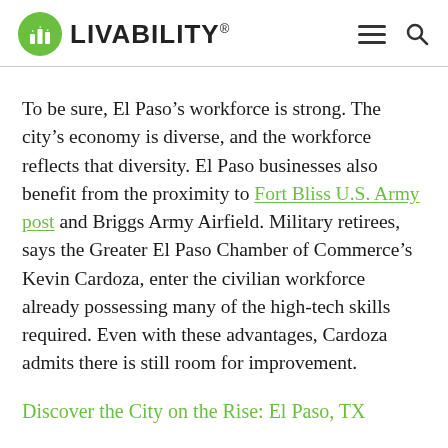LIVABILITY
To be sure, El Paso’s workforce is strong. The city’s economy is diverse, and the workforce reflects that diversity. El Paso businesses also benefit from the proximity to Fort Bliss U.S. Army post and Briggs Army Airfield. Military retirees, says the Greater El Paso Chamber of Commerce’s Kevin Cardoza, enter the civilian workforce already possessing many of the high-tech skills required. Even with these advantages, Cardoza admits there is still room for improvement.
Discover the City on the Rise: El Paso, TX